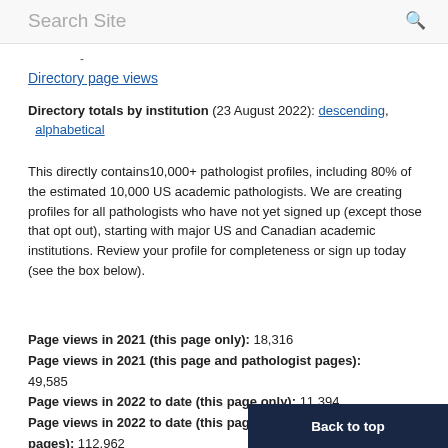Search Site
-
Directory page views
Directory totals by institution (23 August 2022): descending, alphabetical
This directly contains10,000+ pathologist profiles, including 80% of the estimated 10,000 US academic pathologists. We are creating profiles for all pathologists who have not yet signed up (except those that opt out), starting with major US and Canadian academic institutions. Review your profile for completeness or sign up today (see the box below).
Page views in 2021 (this page only): 18,316
Page views in 2021 (this page and pathologist pages): 49,585
Page views in 2022 to date (this page only): 11,394
Page views in 2022 to date (this page and pathologist pages): 112,962
Back to top